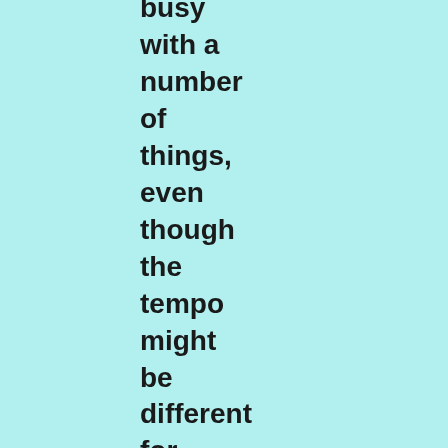busy with a number of things, even though the tempo might be different for summer. May God keep us safe and healthy. Please remember your church while